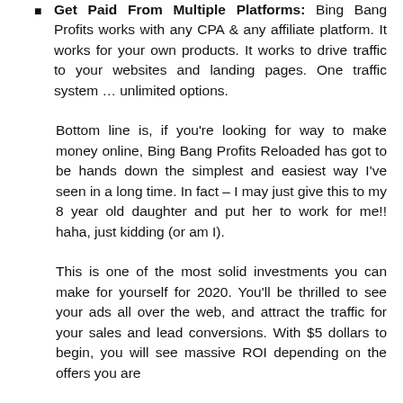Get Paid From Multiple Platforms: Bing Bang Profits works with any CPA & any affiliate platform. It works for your own products. It works to drive traffic to your websites and landing pages. One traffic system … unlimited options.
Bottom line is, if you're looking for way to make money online, Bing Bang Profits Reloaded has got to be hands down the simplest and easiest way I've seen in a long time. In fact – I may just give this to my 8 year old daughter and put her to work for me!! haha, just kidding (or am I).
This is one of the most solid investments you can make for yourself for 2020. You'll be thrilled to see your ads all over the web, and attract the traffic for your sales and lead conversions. With $5 dollars to begin, you will see massive ROI depending on the offers you are